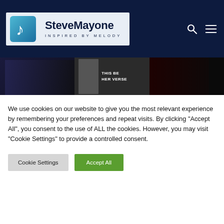[Figure (logo): SteveMayone - Inspired by Melody logo with music note icon on dark navy header background]
[Figure (photo): Banner strip showing three movie/entertainment poster thumbnails side by side; middle section shows a person with text 'THIS BE HER VERSE']
We use cookies on our website to give you the most relevant experience by remembering your preferences and repeat visits. By clicking “Accept All”, you consent to the use of ALL the cookies. However, you may visit "Cookie Settings" to provide a controlled consent.
Cookie Settings
Accept All